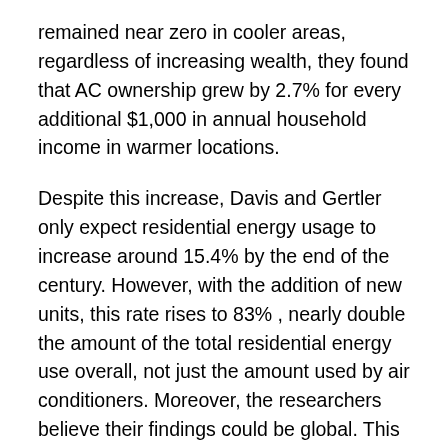remained near zero in cooler areas, regardless of increasing wealth, they found that AC ownership grew by 2.7% for every additional $1,000 in annual household income in warmer locations.
Despite this increase, Davis and Gertler only expect residential energy usage to increase around 15.4% by the end of the century. However, with the addition of new units, this rate rises to 83% , nearly double the amount of the total residential energy use overall, not just the amount used by air conditioners. Moreover, the researchers believe their findings could be global. This could lead to dramatic increases in carbon dioxide emissions, further fueling climate change.